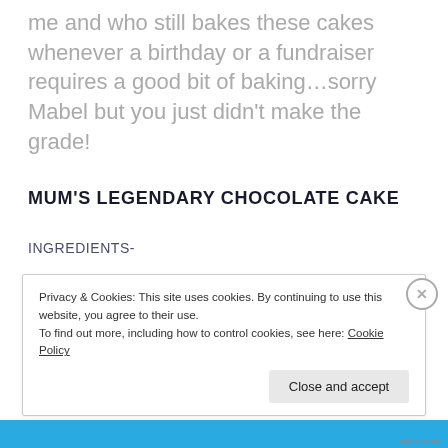me and who still bakes these cakes whenever a birthday or a fundraiser requires a good bit of baking…sorry Mabel but you just didn't make the grade!
MUM'S LEGENDARY CHOCOLATE CAKE
INGREDIENTS-
Privacy & Cookies: This site uses cookies. By continuing to use this website, you agree to their use.
To find out more, including how to control cookies, see here: Cookie Policy
Close and accept